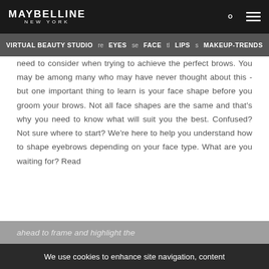MAYBELLINE NEW YORK
VIRTUAL BEAUTY STUDIO  EYES  FACE  LIPS  MAKEUP-TRENDS
need to consider when trying to achieve the perfect brows. You may be among many who may have never thought about this - but one important thing to learn is your face shape before you groom your brows. Not all face shapes are the same and that's why you need to know what will suit you the best. Confused? Not sure where to start? We're here to help you understand how to shape eyebrows depending on your face type. What are you waiting for? Read
ahead to frame and highlight the
We use cookies to enhance site navigation, content